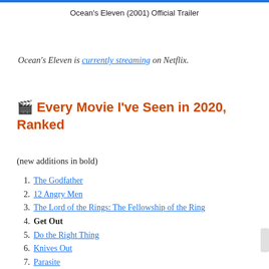Ocean's Eleven (2001) Official Trailer
Ocean's Eleven is currently streaming on Netflix.
🎬 Every Movie I've Seen in 2020, Ranked
(new additions in bold)
1. The Godfather
2. 12 Angry Men
3. The Lord of the Rings: The Fellowship of the Ring
4. Get Out
5. Do the Right Thing
6. Knives Out
7. Parasite